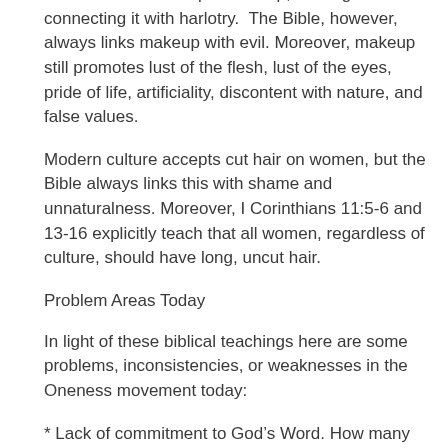Modern culture accepts makeup, no longer connecting it with harlotry.  The Bible, however, always links makeup with evil. Moreover, makeup still promotes lust of the flesh, lust of the eyes, pride of life, artificiality, discontent with nature, and false values.
Modern culture accepts cut hair on women, but the Bible always links this with shame and unnaturalness. Moreover, I Corinthians 11:5-6 and 13-16 explicitly teach that all women, regardless of culture, should have long, uncut hair.
Problem Areas Today
In light of these biblical teachings here are some problems, inconsistencies, or weaknesses in the Oneness movement today:
* Lack of commitment to God’s Word. How many preachers fail to study Bible doctrine in a disciplined, systematic way? As a result, they discard holiness under influence from friends, relatives, and other religious groups. They cannot stand against opposition, persecution, and adversity but they compromise truth for social and religious acceptance, material gain, numerical growth, or worldly success.